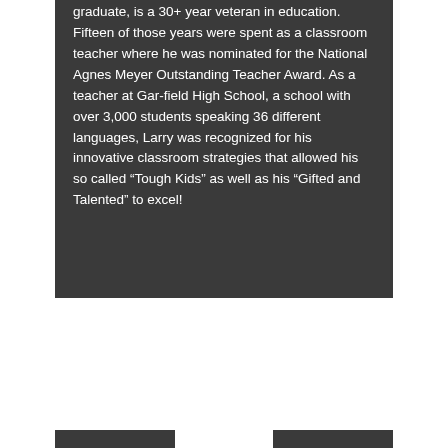graduate, is a 30+ year veteran in education. Fifteen of those years were spent as a classroom teacher where he was nominated for the National Agnes Meyer Outstanding Teacher Award. As a teacher at Gar-field High School, a school with over 3,000 students speaking 36 different languages, Larry was recognized for his innovative classroom strategies that allowed his so called “Tough Kids” as well as his “Gifted and Talented” to excel!